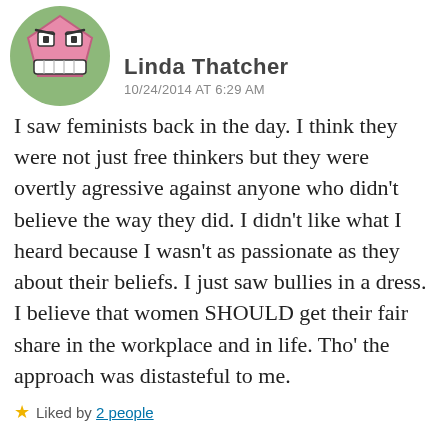[Figure (illustration): Cartoon avatar of an angry pink character with a grimacing face inside a green circle]
Linda Thatcher
10/24/2014 AT 6:29 AM
I saw feminists back in the day. I think they were not just free thinkers but they were overtly agressive against anyone who didn't believe the way they did. I didn't like what I heard because I wasn't as passionate as they about their beliefs. I just saw bullies in a dress. I believe that women SHOULD get their fair share in the workplace and in life. Tho' the approach was distasteful to me.
★ Liked by 2 people